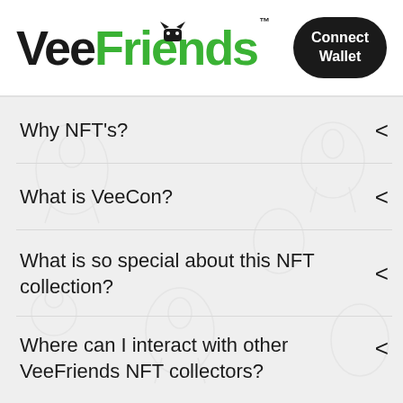VeeFriends™
Connect Wallet
Why NFT's?
What is VeeCon?
What is so special about this NFT collection?
Where can I interact with other VeeFriends NFT collectors?